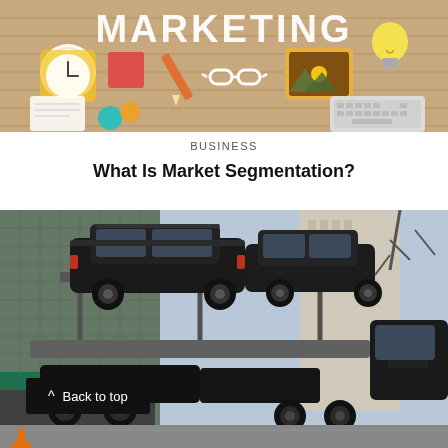[Figure (illustration): Marketing concept illustration with text 'MARKETING' on a wooden desk background with office items: clock, sticky notes, pencil, sunglasses, tablet showing landscape, lightbulb, notebook, laptop keyboard, colorful shapes.]
BUSINESS
What Is Market Segmentation?
[Figure (photo): Photo of black SUVs loaded on a multi-level car carrier truck on a city street, with tall glass office buildings and an apartment building in the background.]